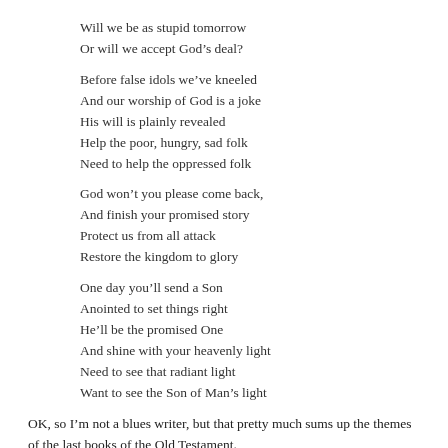Will we be as stupid tomorrow
Or will we accept God’s deal?

Before false idols we’ve kneeled
And our worship of God is a joke
His will is plainly revealed
Help the poor, hungry, sad folk
Need to help the oppressed folk

God won’t you please come back,
And finish your promised story
Protect us from all attack
Restore the kingdom to glory

One day you’ll send a Son
Anointed to set things right
He’ll be the promised One
And shine with your heavenly light
Need to see that radiant light
Want to see the Son of Man’s light
OK, so I’m not a blues writer, but that pretty much sums up the themes of the last books of the Old Testament.
These were the ideas echoing in the minds of the Jewish people when Jesus was born. If a classic blues song longs for a love relationship, the prophets longed for God and his chosen agent, the Messiah, to soothe all sorrows and bring the Kingdom to true magnificence.